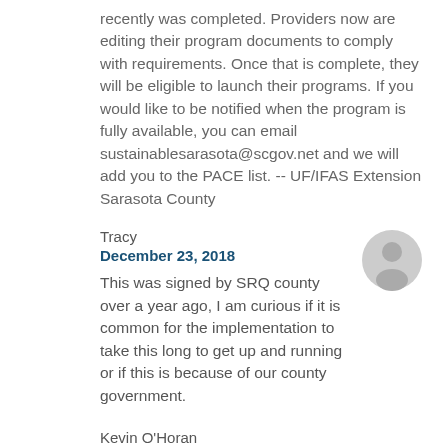recently was completed. Providers now are editing their program documents to comply with requirements. Once that is complete, they will be eligible to launch their programs. If you would like to be notified when the program is fully available, you can email sustainablesarasota@scgov.net and we will add you to the PACE list. -- UF/IFAS Extension Sarasota County
Tracy
December 23, 2018
This was signed by SRQ county over a year ago, I am curious if it is common for the implementation to take this long to get up and running or if this is because of our county government.
Kevin O'Horan
December 17, 2018
Hi, Kristy. Thanks for the question.